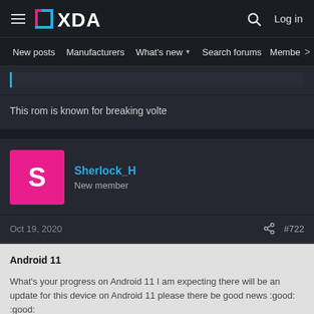XDA Developers — New posts | Manufacturers | What's new | Search forums | Members | Log in
This rom is known for breaking volte
Sherlock_H
New member
Oct 19, 2020  #722
Android 11
What's your progress on Android 11 I am expecting there will be an update for this device on Android 11 please there be good news :good: :good: